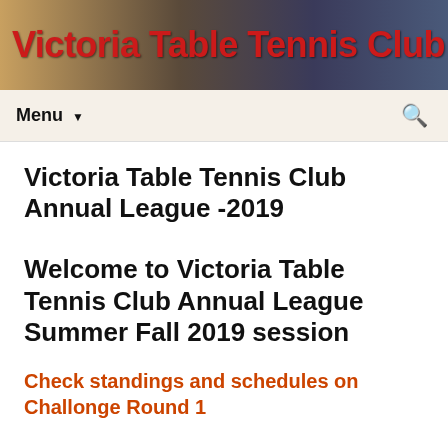Victoria Table Tennis Club
Menu
Victoria Table Tennis Club Annual League -2019
Welcome to Victoria Table Tennis Club Annual League Summer Fall 2019 session
Check standings and schedules on Challonge Round 1